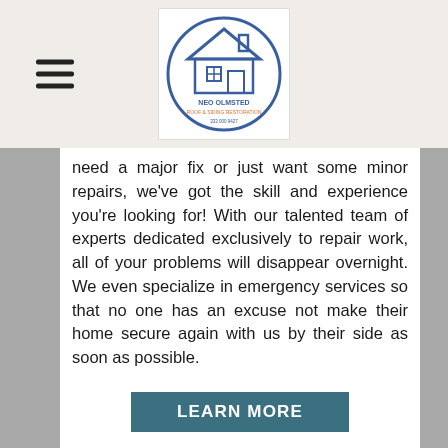NEO OLMSTED ROOF & SIDING RESTORATION
need a major fix or just want some minor repairs, we've got the skill and experience you're looking for! With our talented team of experts dedicated exclusively to repair work, all of your problems will disappear overnight. We even specialize in emergency services so that no one has an excuse not make their home secure again with us by their side as soon as possible.
LEARN MORE